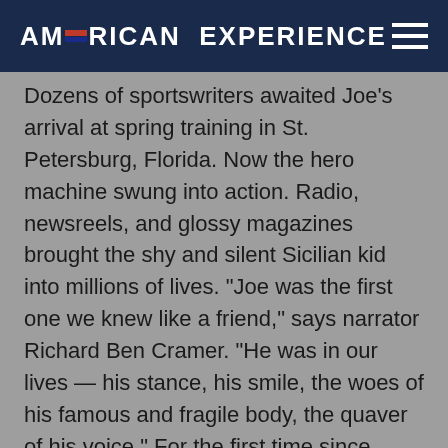AMERICAN EXPERIENCE
Dozens of sportswriters awaited Joe's arrival at spring training in St. Petersburg, Florida. Now the hero machine swung into action. Radio, newsreels, and glossy magazines brought the shy and silent Sicilian kid into millions of lives. "Joe was the first one we knew like a friend," says narrator Richard Ben Cramer. "He was in our lives — his stance, his smile, the woes of his famous and fragile body, the quaver of his voice." For the first time since Babe Ruth's retirement, the Yankees drew a million fans. "When it comes to personal magnetism, you've either got it or you ain't," wrote Lou Miley in the Daily News. "Gehrig is a helluva ballplayer . . . but it is true that no one effort of his goes unnoticed